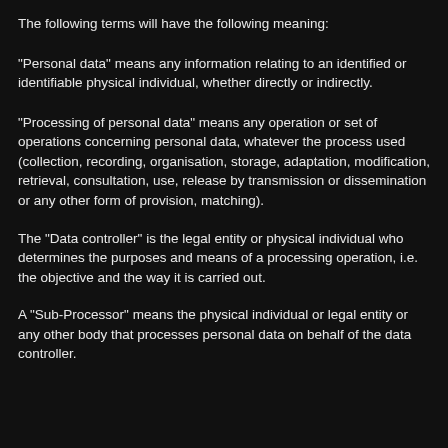The following terms will have the following meaning:
“Personal data” means any information relating to an identified or identifiable physical individual, whether directly or indirectly.
“Processing of personal data” means any operation or set of operations concerning personal data, whatever the process used (collection, recording, organisation, storage, adaptation, modification, retrieval, consultation, use, release by transmission or dissemination or any other form of provision, matching).
The “Data controller” is the legal entity or physical individual who determines the purposes and means of a processing operation, i.e. the objective and the way it is carried out.
A “Sub-Processor” means the physical individual or legal entity or any other body that processes personal data on behalf of the data controller.